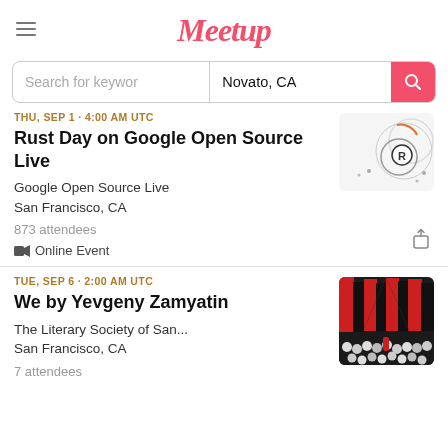Meetup
Search for keyword | Novato, CA
THU, SEP 1 · 4:00 AM UTC
Rust Day on Google Open Source Live
Google Open Source Live
San Francisco, CA
873 attendees
Online Event
TUE, SEP 6 · 2:00 AM UTC
We by Yevgeny Zamyatin
The Literary Society of San...
San Francisco, CA
7 attendees